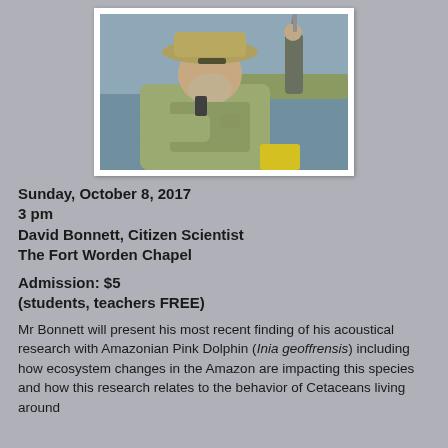[Figure (photo): Photograph of David Bonnett, a bearded older man wearing a tan wide-brimmed hat and olive/khaki fishing shirt, seated on a boat on a river or coastal waterway, with another person visible in the background holding a pole or instrument. Warm golden light suggests late afternoon.]
Sunday, October 8, 2017
3 pm
David Bonnett, Citizen Scientist
The Fort Worden Chapel
Admission: $5
(students, teachers FREE)
Mr Bonnett will present his most recent finding of his acoustical research with Amazonian Pink Dolphin (Inia geoffrensis) including how ecosystem changes in the Amazon are impacting this species and how this research relates to the behavior of Cetaceans living around